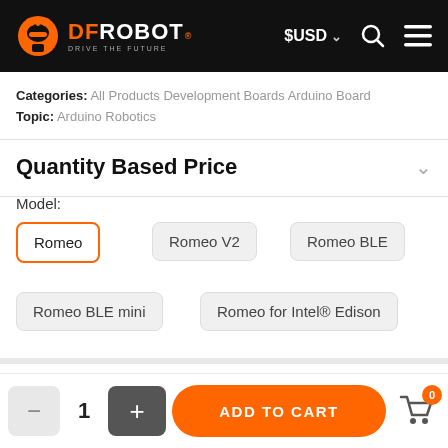[Figure (logo): DFRobot logo with orange robot icon and 'DRIVE THE FUTURE' tagline on black header bar]
Categories: All Products Development Boards Arduino Board
Topic: Arduino Robotics
Quantity Based Price
Model:
Romeo
Romeo V2
Romeo BLE
Romeo BLE mini
Romeo for Intel® Edison
1  ADD TO CART  0